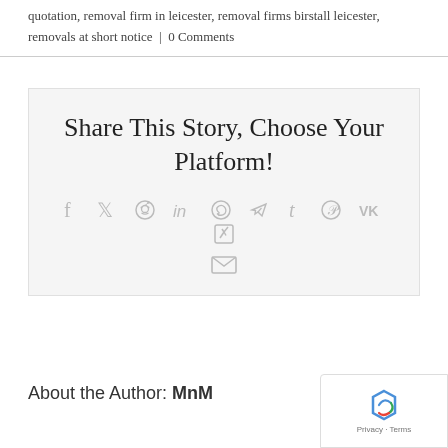quotation, removal firm in leicester, removal firms birstall leicester, removals at short notice | 0 Comments
[Figure (infographic): Share This Story, Choose Your Platform! box with social media icons: facebook, twitter, reddit, linkedin, whatsapp, telegram, tumblr, pinterest, vk, xing, email]
About the Author: MnM